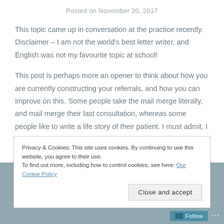Posted on November 20, 2017
This topic came up in conversation at the practice recently. Disclaimer – I am not the world's best letter writer, and English was not my favourite topic at school!
This post is perhaps more an opener to think about how you are currently constructing your referrals, and how you can improve on this. Some people take the mail merge literally, and mail merge their last consultation, whereas some people like to write a life story of their patient. I must admit, I have been guilty of both of these in the
Privacy & Cookies: This site uses cookies. By continuing to use this website, you agree to their use.
To find out more, including how to control cookies, see here: Our Cookie Policy
Close and accept